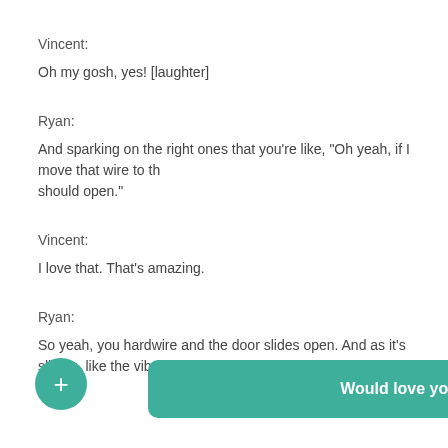Vincent:
Oh my gosh, yes! [laughter]
Ryan:
And sparking on the right ones that you're like, "Oh yeah, if I move that wire to th should open."
Vincent:
I love that. That's amazing.
Ryan:
So yeah, you hardwire and the door slides open. And as it's sliding, like the vibra
[Figure (screenshot): Green teal overlay banner with text 'Would love your thoughts, please comment.' and an X close button, plus a circular teal + button in the bottom left.]